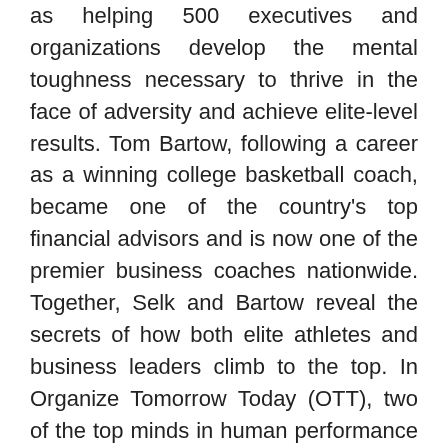as helping 500 executives and organizations develop the mental toughness necessary to thrive in the face of adversity and achieve elite-level results. Tom Bartow, following a career as a winning college basketball coach, became one of the country's top financial advisors and is now one of the premier business coaches nationwide. Together, Selk and Bartow reveal the secrets of how both elite athletes and business leaders climb to the top. In Organize Tomorrow Today (OTT), two of the top minds in human performance come together to deliver the pathway to extreme success. Doing more is not the answer and Selk and Bartow walk you through how to achieve more by doing less. There is a huge difference between knowing something and understanding. There is even a bigger